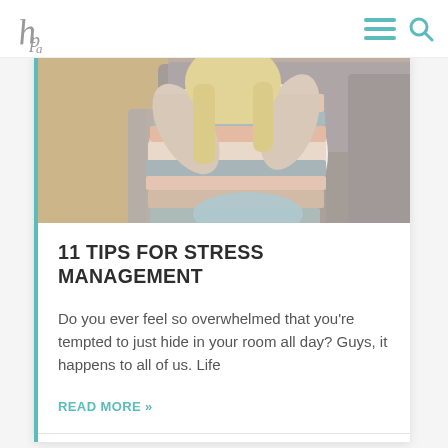Logo / Navigation bar
[Figure (photo): Woman in a multicolored striped knit sweater sitting on a gray couch, hands near her head, with a blue pillow on her lap]
11 TIPS FOR STRESS MANAGEMENT
Do you ever feel so overwhelmed that you're tempted to just hide in your room all day? Guys, it happens to all of us. Life
READ MORE »
March 31, 2020  •  No Comments